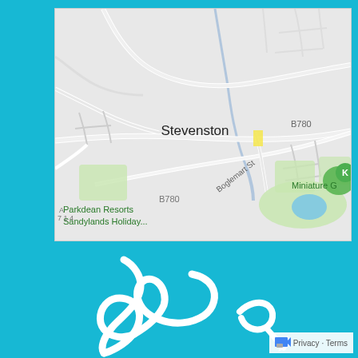[Figure (map): Google Maps screenshot showing Stevenston area in Scotland, with roads including B780 and Boglemart St, green spaces, Parkdean Resorts Sandylands Holiday Park label, and Miniature Golf label visible]
[Figure (logo): White cursive/script logo on cyan/turquoise background, with Google Maps privacy/terms watermark in bottom right corner]